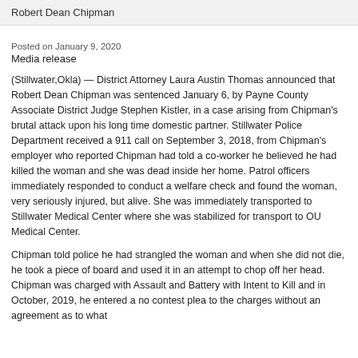Robert Dean Chipman
Posted on January 9, 2020
Media release
(Stillwater,Okla) — District Attorney Laura Austin Thomas announced that Robert Dean Chipman was sentenced January 6, by Payne County Associate District Judge Stephen Kistler, in a case arising from Chipman's brutal attack upon his long time domestic partner. Stillwater Police Department received a 911 call on September 3, 2018, from Chipman's employer who reported Chipman had told a co-worker he believed he had killed the woman and she was dead inside her home. Patrol officers immediately responded to conduct a welfare check and found the woman, very seriously injured, but alive. She was immediately transported to Stillwater Medical Center where she was stabilized for transport to OU Medical Center.
Chipman told police he had strangled the woman and when she did not die, he took a piece of board and used it in an attempt to chop off her head. Chipman was charged with Assault and Battery with Intent to Kill and in October, 2019, he entered a no contest plea to the charges without an agreement as to what